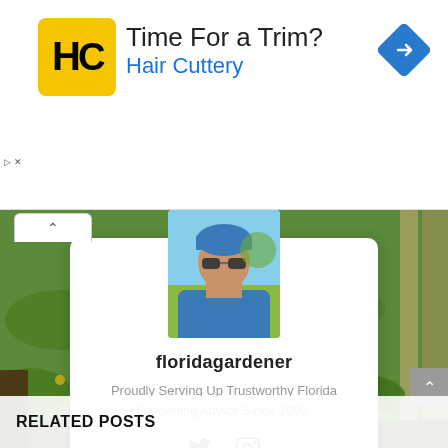[Figure (screenshot): Advertisement banner for Hair Cuttery. Shows HC logo in yellow square, 'Time For a Trim?' headline, 'Hair Cuttery' in blue, and a blue navigation diamond icon.]
[Figure (photo): Profile photo of floridagardener — person wearing blue bandana and sunglasses outdoors.]
floridagardener
Proudly Serving Up Trustworthy Florida Gardening Advice Since 1999.
[Figure (other): Twitter and Instagram social media icons in gray.]
RELATED POSTS